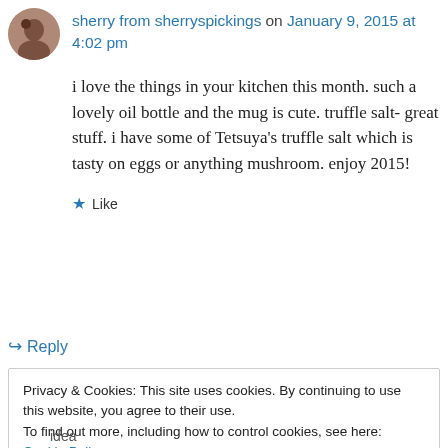sherry from sherryspickings on January 9, 2015 at 4:02 pm
i love the things in your kitchen this month. such a lovely oil bottle and the mug is cute. truffle salt- great stuff. i have some of Tetsuya's truffle salt which is tasty on eggs or anything mushroom. enjoy 2015!
★ Like
↳ Reply
Privacy & Cookies: This site uses cookies. By continuing to use this website, you agree to their use. To find out more, including how to control cookies, see here: Cookie Policy
Close and accept
idea